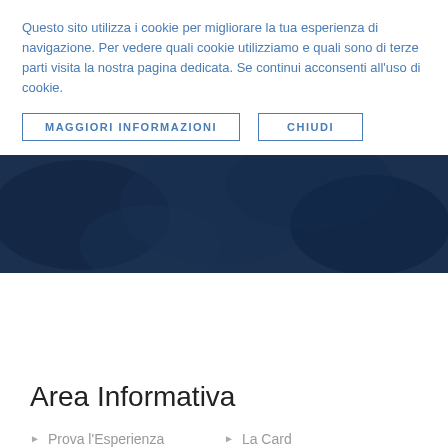Questo sito utilizza i cookie per migliorare la tua esperienza di navigazione. Per vedere quali cookie utilizziamo e quali sono di terze parti visita la nostra pagina dedicata. Se continui acconsenti all'uso di cookie.
MAGGIORI INFORMAZIONI
CHIUDI
[Figure (photo): Dark blue banner with textured background image]
Area Informativa
Prova l'Esperienza
La Card
Hotelperdue
I Vantaggi